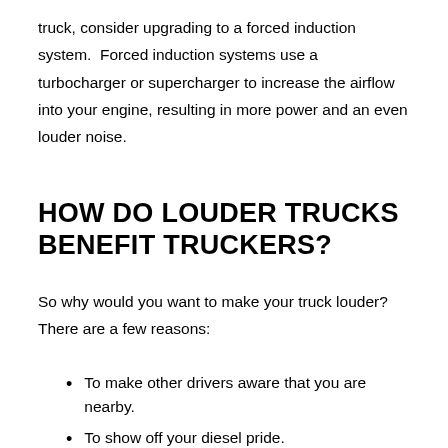truck, consider upgrading to a forced induction system. Forced induction systems use a turbocharger or supercharger to increase the airflow into your engine, resulting in more power and an even louder noise.
HOW DO LOUDER TRUCKS BENEFIT TRUCKERS?
So why would you want to make your truck louder? There are a few reasons:
To make other drivers aware that you are nearby.
To show off your diesel pride.
To drown out distractions on the road.